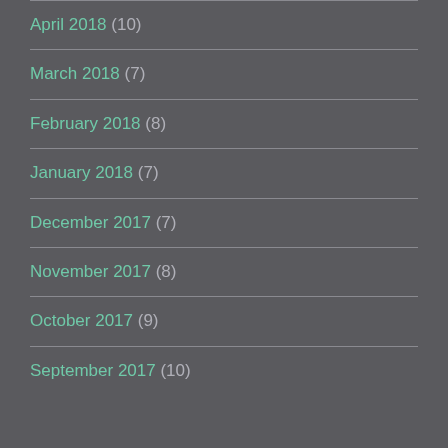April 2018 (10)
March 2018 (7)
February 2018 (8)
January 2018 (7)
December 2017 (7)
November 2017 (8)
October 2017 (9)
September 2017 (10)